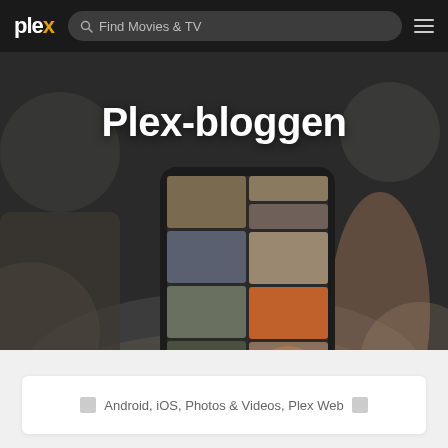plex  Find Movies & TV  ☰
[Figure (screenshot): Hero image of a person holding a smartphone showing a photo grid of dogs. Background is dark/desaturated. Large bold white text 'Plex-bloggen' overlaid on top.]
Plex-bloggen
Android, iOS, Photos & Videos, Plex Web